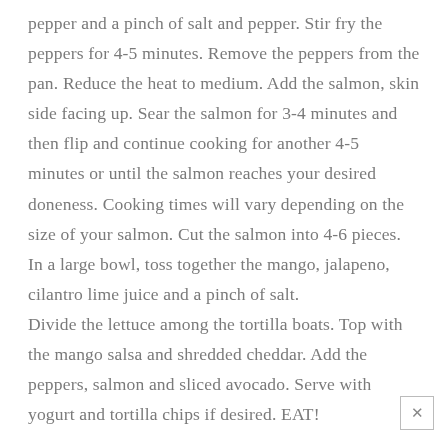pepper and a pinch of salt and pepper. Stir fry the peppers for 4-5 minutes. Remove the peppers from the pan. Reduce the heat to medium. Add the salmon, skin side facing up. Sear the salmon for 3-4 minutes and then flip and continue cooking for another 4-5 minutes or until the salmon reaches your desired doneness. Cooking times will vary depending on the size of your salmon. Cut the salmon into 4-6 pieces.
In a large bowl, toss together the mango, jalapeno, cilantro lime juice and a pinch of salt.
Divide the lettuce among the tortilla boats. Top with the mango salsa and shredded cheddar. Add the peppers, salmon and sliced avocado. Serve with yogurt and tortilla chips if desired. EAT!